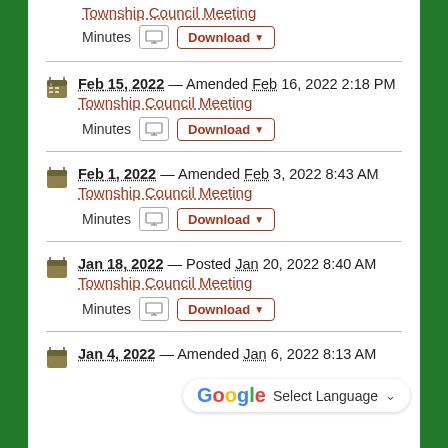Township Council Meeting — Minutes, Download
Feb 15, 2022 — Amended Feb 16, 2022 2:18 PM — Township Council Meeting — Minutes, Download
Feb 1, 2022 — Amended Feb 3, 2022 8:43 AM — Township Council Meeting — Minutes, Download
Jan 18, 2022 — Posted Jan 20, 2022 8:40 AM — Township Council Meeting — Minutes, Download
Jan 4, 2022 — Amended Jan 6, 2022 8:13 AM